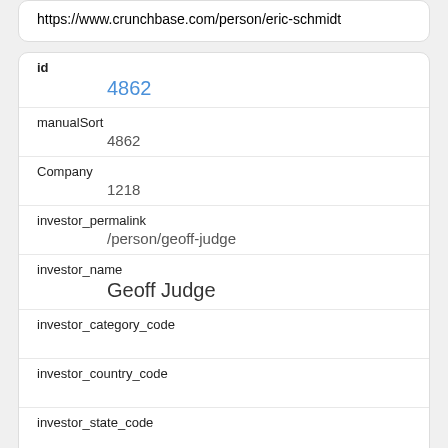https://www.crunchbase.com/person/eric-schmidt
| field | value |
| --- | --- |
| id | 4862 |
| manualSort | 4862 |
| Company | 1218 |
| investor_permalink | /person/geoff-judge |
| investor_name | Geoff Judge |
| investor_category_code |  |
| investor_country_code |  |
| investor_state_code |  |
| investor_region | unknown |